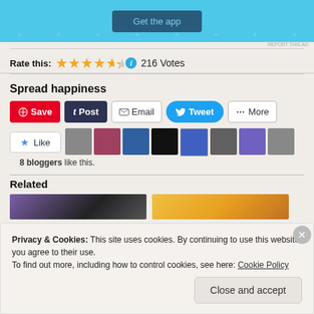[Figure (screenshot): Light blue ad banner with 'Get the app' button]
REPORT THIS AD
Rate this: ★★★★½ ℹ 216 Votes
Spread happiness
Save  Post  Email  Tweet  More
★ Like  [blogger avatars]  8 bloggers like this.
Related
[Figure (screenshot): Cookie consent banner: Privacy & Cookies: This site uses cookies. By continuing to use this website, you agree to their use. To find out more, including how to control cookies, see here: Cookie Policy. Close and accept button.]